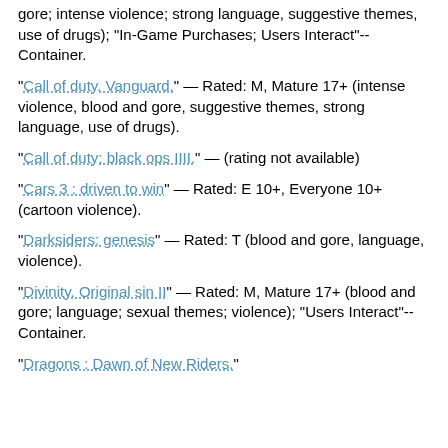gore; intense violence; strong language, suggestive themes, use of drugs); "In-Game Purchases; Users Interact"--Container.
"Call of duty. Vanguard." — Rated: M, Mature 17+ (intense violence, blood and gore, suggestive themes, strong language, use of drugs).
"Call of duty: black ops IIII." — (rating not available)
"Cars 3 : driven to win" — Rated: E 10+, Everyone 10+ (cartoon violence).
"Darksiders: genesis" — Rated: T (blood and gore, language, violence).
"Divinity. Original sin II" — Rated: M, Mature 17+ (blood and gore; language; sexual themes; violence); "Users Interact"--Container.
"Dragons : Dawn of New Riders."